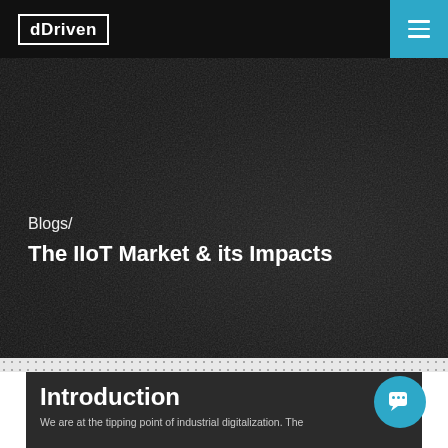dDriven
[Figure (photo): Dark background hero image with industrial/technology hands texture, partially visible under dark overlay]
Blogs/
The IIoT Market & its Impacts
Introduction
We are at the tipping point of industrial digitalization. The